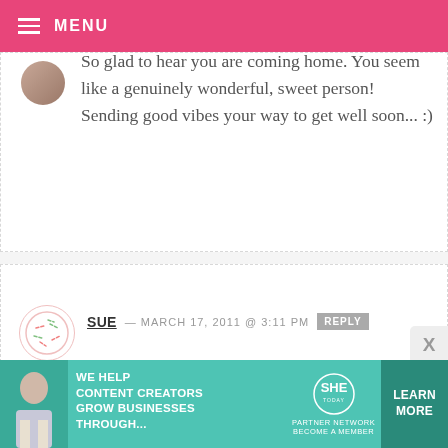MENU
So glad to hear you are coming home. You seem like a genuinely wonderful, sweet person! Sending good vibes your way to get well soon... :)
SUE — MARCH 17, 2011 @ 3:11 PM REPLY
There’s no place like home:) God bless you on this journey. Hugs and prayers for you(and your mom too)! XOXO. Looking forward to more cute food!
[Figure (infographic): SHE Partner Network advertisement banner with photo of woman, text 'WE HELP CONTENT CREATORS GROW BUSINESSES THROUGH...', SHE logo, and LEARN MORE button]